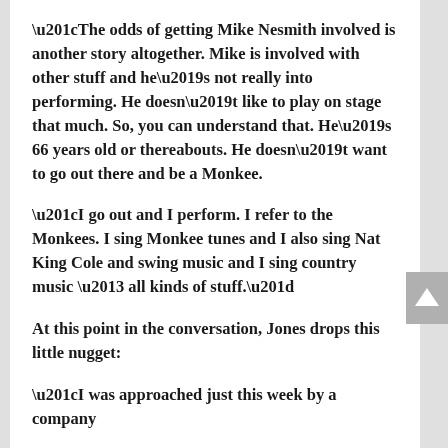“The odds of getting Mike Nesmith involved is another story altogether.  Mike is involved with other stuff and he’s not really into performing.  He doesn’t like to play on stage that much.  So, you can understand that.  He’s 66 years old or thereabouts.  He doesn’t want to go out there and be a Monkee.
“I go out and I perform.  I refer to the Monkees.  I sing Monkee tunes and I also sing Nat King Cole and swing music and I sing country music – all kinds of stuff.”
At this point in the conversation, Jones drops this little nugget:
“I was approached just this week by a company